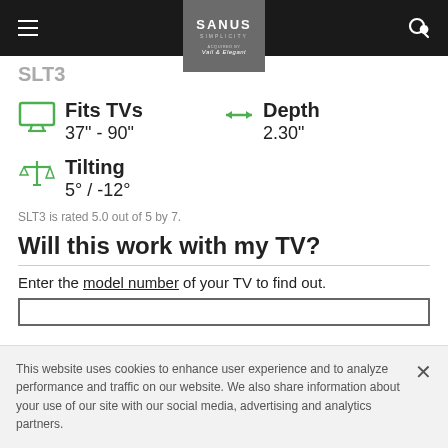SANUS SIMPLICITY
SLT3
Fits TVs 37" - 90"
Depth 2.30"
Tilting 5° / -12°
SLT3 is rated 5.0 out of 5 by 7.
Will this work with my TV?
Enter the model number of your TV to find out.
This website uses cookies to enhance user experience and to analyze performance and traffic on our website. We also share information about your use of our site with our social media, advertising and analytics partners.